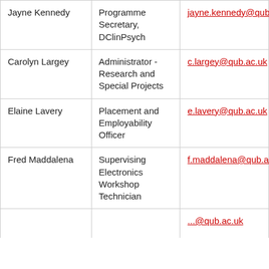| Name | Role | Email |
| --- | --- | --- |
| Jayne Kennedy | Programme Secretary, DClinPsych | jayne.kennedy@qub.ac.uk |
| Carolyn Largey | Administrator - Research and Special Projects | c.largey@qub.ac.uk |
| Elaine Lavery | Placement and Employability Officer | e.lavery@qub.ac.uk |
| Fred Maddalena | Supervising Electronics Workshop Technician | f.maddalena@qub.ac.uk |
| ... | ... | ...@qub.ac.uk |